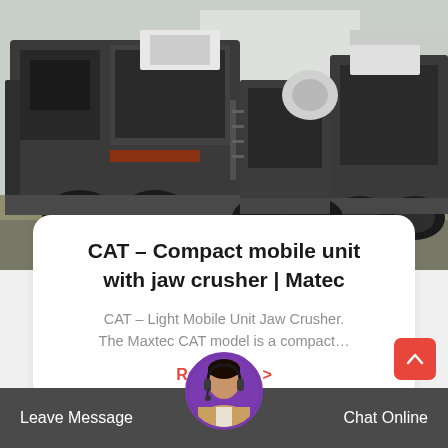[Figure (photo): Photograph of CAT compact mobile jaw crusher units on trailers parked outdoors near a building. Multiple large industrial crushing machines visible with rubber tires and steel frames.]
CAT - Compact mobile unit with jaw crusher | Matec
CAT – Light Mobile Unit Jaw Crusher. The Maxtec CAT model is a compact...
Read More >
Leave Message   Chat Online